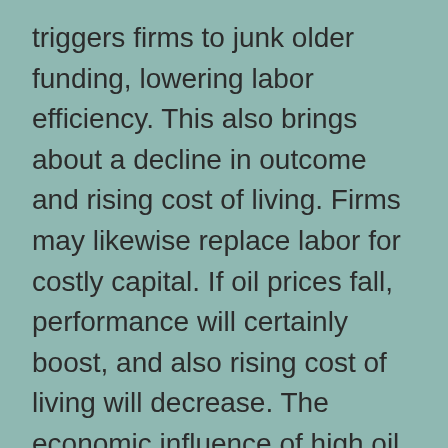triggers firms to junk older funding, lowering labor efficiency. This also brings about a decline in outcome and rising cost of living. Firms may likewise replace labor for costly capital. If oil prices fall, performance will certainly boost, and also rising cost of living will decrease. The economic influence of high oil rates is short-lived. High oil costs have been a major factor to U.S. development since the late 1990s. Nevertheless, the current run-up in oil rates ought to not be thought about a cause for alarm.
Choices for purchasing oil rates.